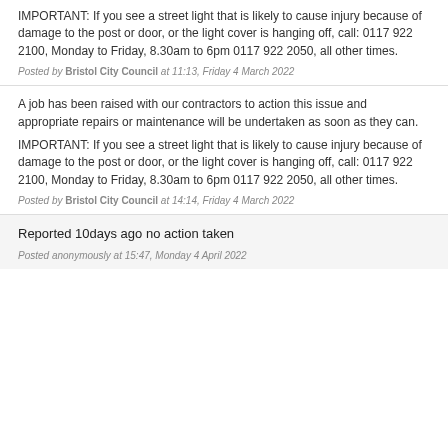IMPORTANT: If you see a street light that is likely to cause injury because of damage to the post or door, or the light cover is hanging off, call: 0117 922 2100, Monday to Friday, 8.30am to 6pm 0117 922 2050, all other times.
Posted by Bristol City Council at 11:13, Friday 4 March 2022
A job has been raised with our contractors to action this issue and appropriate repairs or maintenance will be undertaken as soon as they can.
IMPORTANT: If you see a street light that is likely to cause injury because of damage to the post or door, or the light cover is hanging off, call: 0117 922 2100, Monday to Friday, 8.30am to 6pm 0117 922 2050, all other times.
Posted by Bristol City Council at 14:14, Friday 4 March 2022
Reported 10days ago no action taken
Posted anonymously at 15:47, Monday 4 April 2022